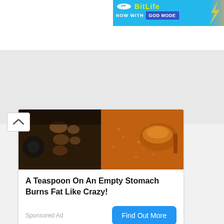[Figure (screenshot): BitLife app advertisement banner with cyan/blue background showing BitLife logo in yellow-green text, a snake graphic, and 'NOW WITH GOD MODE' text in blue box]
[Figure (photo): Composite image showing muscular torso on left and spices/food on right side, used as ad banner image]
A Teaspoon On An Empty Stomach Burns Fat Like Crazy!
Sponsored Ad
Find Out More